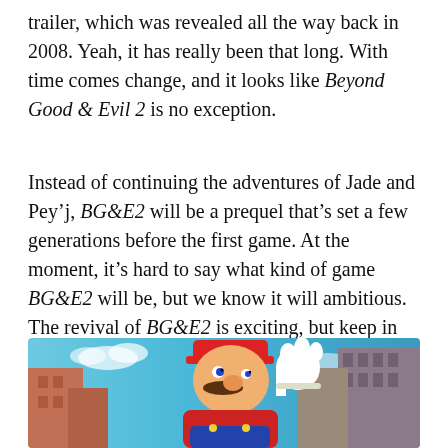trailer, which was revealed all the way back in 2008. Yeah, it has really been that long. With time comes change, and it looks like Beyond Good & Evil 2 is no exception.
Instead of continuing the adventures of Jade and Pey'j, BG&E2 will be a prequel that's set a few generations before the first game. At the moment, it's hard to say what kind of game BG&E2 will be, but we know it will ambitious. The revival of BG&E2 is exciting, but keep in mind, this was just another pre-rendered trailer. Unfortunately, we probably won't see this game anytime soon.
[Figure (photo): Screenshot or promotional image of Super Mario Odyssey showing Mario waving with a city/urban background]